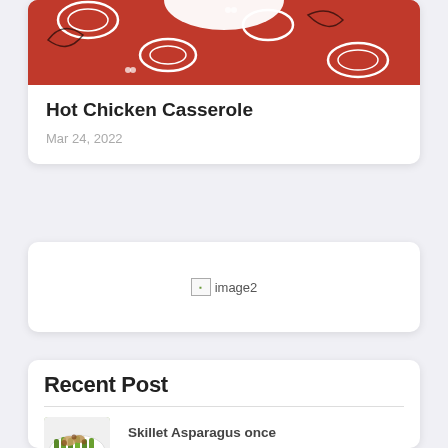[Figure (photo): Top portion of a photo showing a red bandana-patterned fabric background with a white bowl, partially visible at top of card]
Hot Chicken Casserole
Mar 24, 2022
[Figure (photo): Broken image placeholder labeled 'image2']
Recent Post
[Figure (photo): Thumbnail photo of skillet asparagus dish with caramelized onions and walnuts on a white plate]
Skillet Asparagus once Caramelized Onions and Walnuts